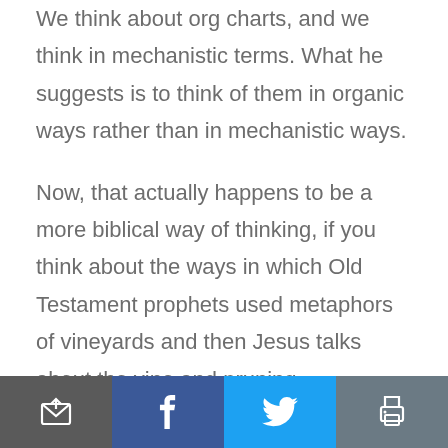We think about org charts, and we think in mechanistic terms. What he suggests is to think of them in organic ways rather than in mechanistic ways.
Now, that actually happens to be a more biblical way of thinking, if you think about the ways in which Old Testament prophets used metaphors of vineyards and then Jesus talks about the vine and pruning.
Institutions are always changing. They're always adapting. They're always evolving. They're
[toolbar: email, facebook, twitter, print]